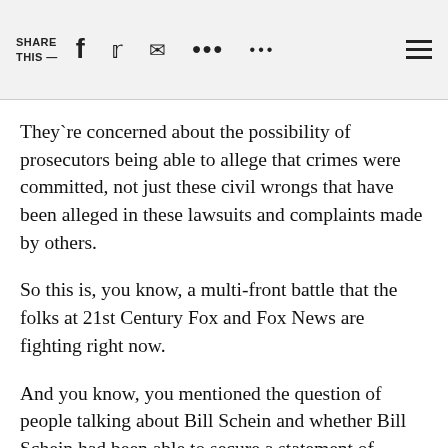SHARE THIS — f [twitter] [email] [message] ... ≡
They`re concerned about the possibility of prosecutors being able to allege that crimes were committed, not just these civil wrongs that have been alleged in these lawsuits and complaints made by others.
So this is, you know, a multi-front battle that the folks at 21st Century Fox and Fox News are fighting right now.
And you know, you mentioned the question of people talking about Bill Schein and whether Bill Schein had been able to secure a statement of support from his bosses, the Murdochs.  You know, I and other reporters have been going to those same bosses and saying, where does Bill Schein stand right now?  What is the feeling about his leadership?  How do we feel about his relationship with a lot of the  actions that have led to